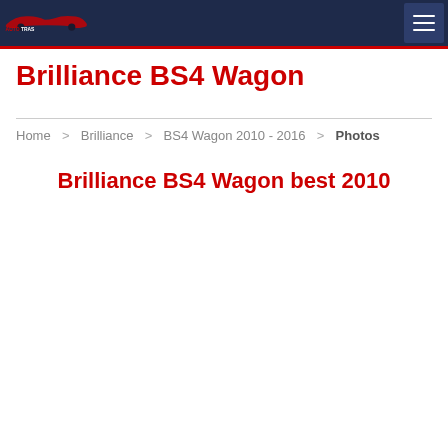AUTOTRAS
Brilliance BS4 Wagon
Home > Brilliance > BS4 Wagon 2010 - 2016 > Photos
Brilliance BS4 Wagon best 2010